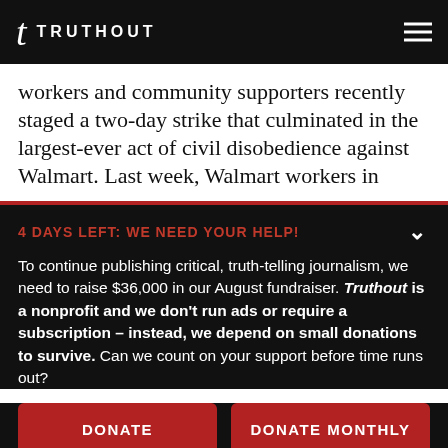TRUTHOUT
workers and community supporters recently staged a two-day strike that culminated in the largest-ever act of civil disobedience against Walmart. Last week, Walmart workers in
4 DAYS LEFT: WE NEED YOUR HELP!
To continue publishing critical, truth-telling journalism, we need to raise $36,000 in our August fundraiser. Truthout is a nonprofit and we don't run ads or require a subscription – instead, we depend on small donations to survive. Can we count on your support before time runs out?
DONATE
DONATE MONTHLY